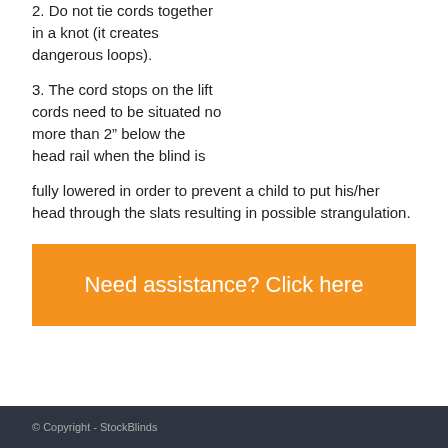2. Do not tie cords together in a knot (it creates dangerous loops).
3. The cord stops on the lift cords need to be situated no more than 2” below the head rail when the blind is fully lowered in order to prevent a child to put his/her head through the slats resulting in possible strangulation.
Need assistance? Click here
© Copyright - StockBlinds